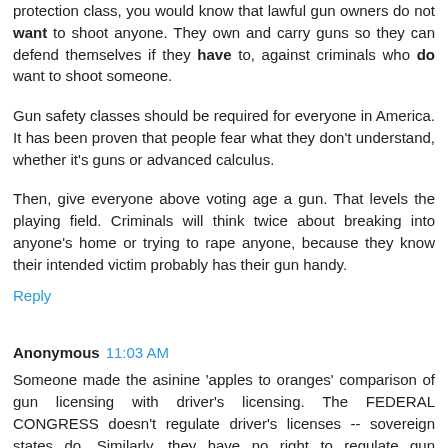protection class, you would know that lawful gun owners do not want to shoot anyone. They own and carry guns so they can defend themselves if they have to, against criminals who do want to shoot someone.
Gun safety classes should be required for everyone in America. It has been proven that people fear what they don't understand, whether it's guns or advanced calculus.
Then, give everyone above voting age a gun. That levels the playing field. Criminals will think twice about breaking into anyone's home or trying to rape anyone, because they know their intended victim probably has their gun handy.
Reply
Anonymous 11:03 AM
Someone made the asinine 'apples to oranges' comparison of gun licensing with driver's licensing. The FEDERAL CONGRESS doesn't regulate driver's licenses -- sovereign states do. Similarly, they have no right to regulate gun ownership, either. What is it about "shall not be infringed"